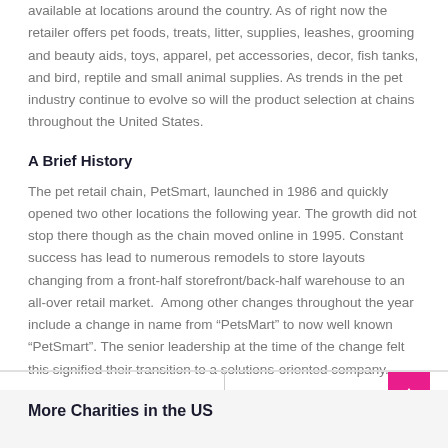available at locations around the country. As of right now the retailer offers pet foods, treats, litter, supplies, leashes, grooming and beauty aids, toys, apparel, pet accessories, decor, fish tanks, and bird, reptile and small animal supplies. As trends in the pet industry continue to evolve so will the product selection at chains throughout the United States.
A Brief History
The pet retail chain, PetSmart, launched in 1986 and quickly opened two other locations the following year. The growth did not stop there though as the chain moved online in 1995. Constant success has lead to numerous remodels to store layouts changing from a front-half storefront/back-half warehouse to an all-over retail market.  Among other changes throughout the year include a change in name from “PetsMart” to now well known “PetSmart”. The senior leadership at the time of the change felt this signified their transition to a solutions-oriented company.
More Charities in the US